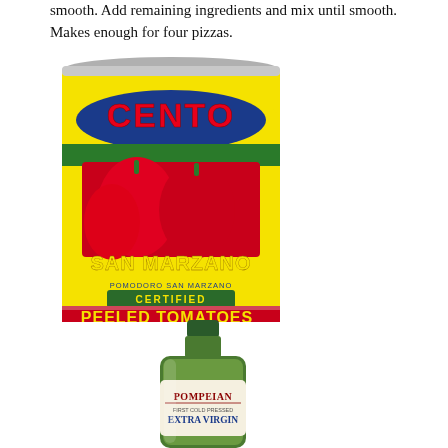smooth. Add remaining ingredients and mix until smooth. Makes enough for four pizzas.
[Figure (photo): Can of Cento San Marzano Certified Peeled Tomatoes, Product of Italy, POMODORO SAN MARZANO, NET WT. 28 OZ. (1 LB. 12 OZ.) 794 GRAMS]
[Figure (photo): Bottle of Pompeian Extra Virgin olive oil, partially visible at bottom of page]